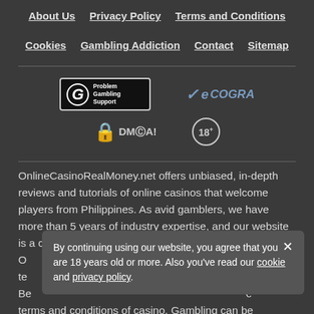About Us | Privacy Policy | Terms and Conditions | Cookies | Gambling Addiction | Contact | Sitemap
[Figure (logo): GamCare Problem Gambling Support badge, eCOGRA logo, DMCA Protection logo, 18+ age restriction badge]
OnlineCasinoRealMoney.net offers unbiased, in-depth reviews and tutorials of online casinos that welcome players from Philippines. As avid gamblers, we have more than 5 years of industry expertise, and our website is a co... O... te... Be... e terms and conditions of casino. Gambling can be addictive.
By continuing using our website, you agree that you are 18 years old or more. Also you've read our cookie and privacy policy.